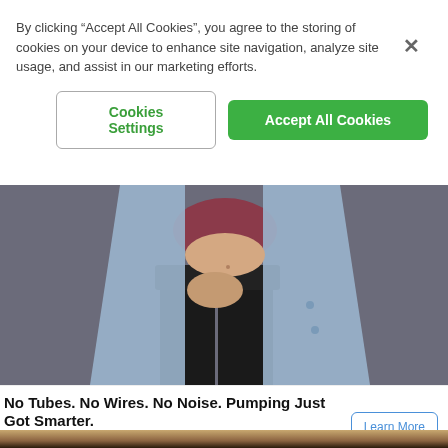By clicking “Accept All Cookies”, you agree to the storing of cookies on your device to enhance site navigation, analyze site usage, and assist in our marketing efforts.
Cookies Settings
Accept All Cookies
[Figure (photo): A woman wearing a maroon bralette and an open light blue denim shirt with black pants, posed against a gray background, torso and lower body visible.]
No Tubes. No Wires. No Noise. Pumping Just Got Smarter.
Elvie
Learn More
[Figure (photo): Top of a person's head with curly dark hair, partially visible at the very bottom of the page.]